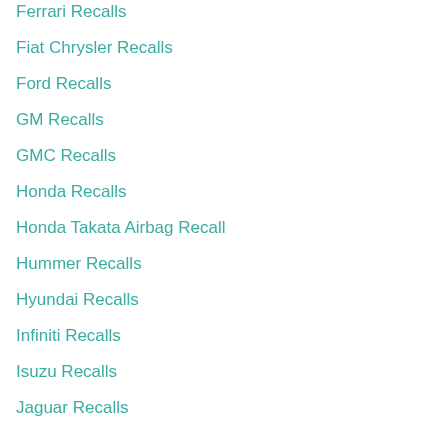Ferrari Recalls
Fiat Chrysler Recalls
Ford Recalls
GM Recalls
GMC Recalls
Honda Recalls
Honda Takata Airbag Recall
Hummer Recalls
Hyundai Recalls
Infiniti Recalls
Isuzu Recalls
Jaguar Recalls